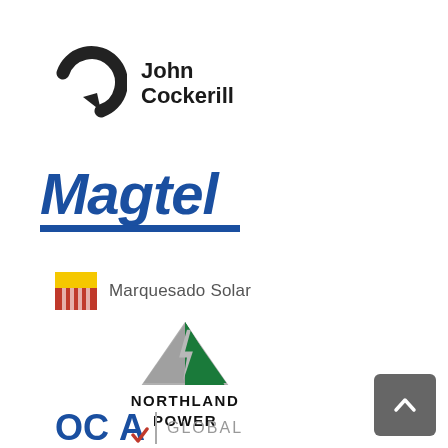[Figure (logo): John Cockerill company logo - black recycling-style arrow icon with text 'John Cockerill' in bold black sans-serif]
[Figure (logo): Magtel company logo - blue italic bold text 'Magtel' with a blue rectangular bar beneath]
[Figure (logo): Marquesado Solar logo - red and yellow striped square icon followed by 'Marquesado Solar' in gray text]
[Figure (logo): Northland Power logo - green triangle tree with gray lightning bolt, black text 'NORTHLAND POWER' below]
[Figure (logo): OCA Global logo - blue 'OCA' letters with red checkmark accent, vertical divider, 'GLOBAL' in gray]
[Figure (other): Dark gray square button with white upward caret/chevron arrow, positioned bottom right]